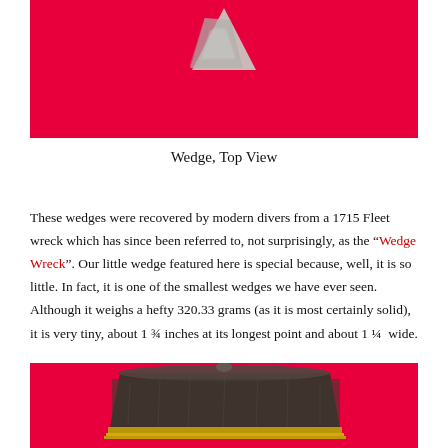[Figure (photo): Top view of a silver wedge artifact on a red background]
Wedge, Top View
These wedges were recovered by modern divers from a 1715 Fleet wreck which has since been referred to, not surprisingly, as the “Wedge Wreck”. Our little wedge featured here is special because, well, it is so little. In fact, it is one of the smallest wedges we have ever seen. Although it weighs a hefty 320.33 grams (as it is most certainly solid), it is very tiny, about 1 ¾ inches at its longest point and about 1 ¼  wide.
[Figure (photo): Side view of a dark wedge artifact on a red background with decorative gold trim at the bottom]